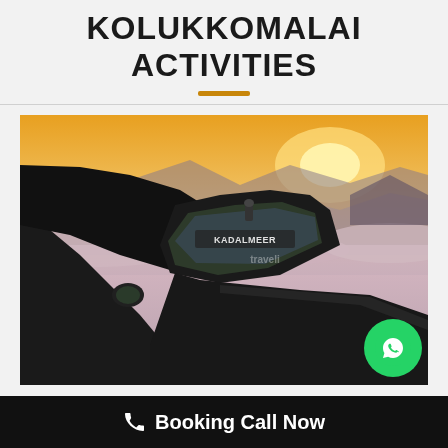KOLUKKOMALAI ACTIVITIES
[Figure (photo): View from inside a dark jeep (labeled KADALMEER on the windshield) looking out over a dramatic mountain landscape above the clouds at sunrise/sunset. Orange and purple hues fill the sky, with misty clouds filling the valleys between mountain ridges.]
Booking Call Now